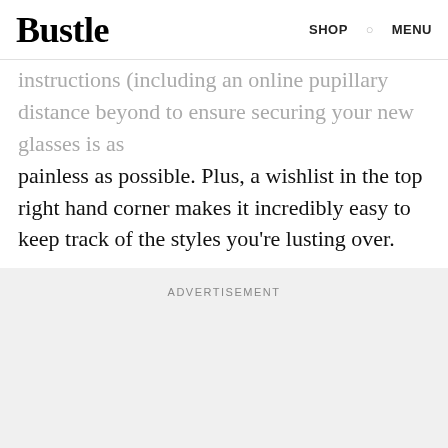Bustle  SHOP  MENU
instructions (including an online pupillary distance beyond to ensure securing your new glasses is as painless as possible. Plus, a wishlist in the top right hand corner makes it incredibly easy to keep track of the styles you're lusting over.
Aceandtate.com
ADVERTISEMENT